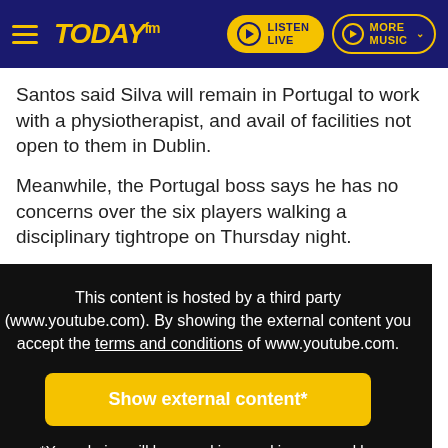[Figure (logo): Today FM website header with hamburger menu, Today FM logo in yellow italic text, Listen Live button and More Music button on dark blue background]
Santos said Silva will remain in Portugal to work with a physiotherapist, and avail of facilities not open to them in Dublin.
Meanwhile, the Portugal boss says he has no concerns over the six players walking a disciplinary tightrope on Thursday night.
This content is hosted by a third party (www.youtube.com). By showing the external content you accept the terms and conditions of www.youtube.com.

Show external content*

*Your choice will be saved in a cookie managed by todayfm.com